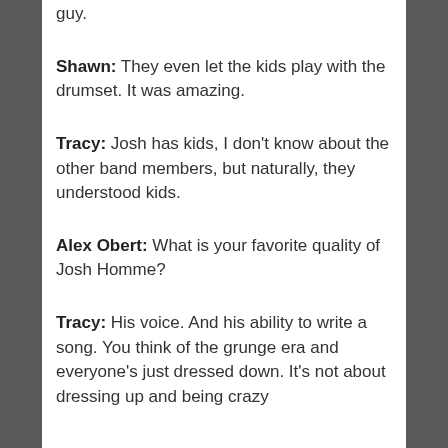guy.
Shawn: They even let the kids play with the drumset. It was amazing.
Tracy: Josh has kids, I don't know about the other band members, but naturally, they understood kids.
Alex Obert: What is your favorite quality of Josh Homme?
Tracy: His voice. And his ability to write a song. You think of the grunge era and everyone's just dressed down. It's not about dressing up and being crazy